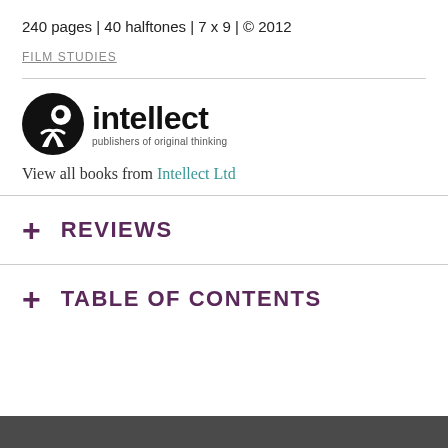240 pages | 40 halftones | 7 x 9 | © 2012
FILM STUDIES
[Figure (logo): Intellect publishers logo — circular icon with stylized person figure, followed by 'intellect' in bold sans-serif and 'publishers of original thinking' tagline]
View all books from Intellect Ltd
+ REVIEWS
+ TABLE OF CONTENTS